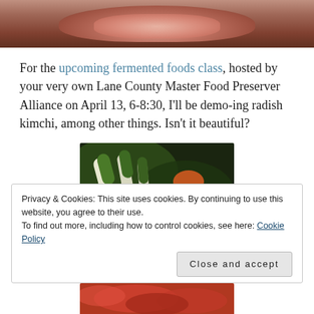[Figure (photo): Top portion of a photo showing a bowl of radish kimchi on a wooden surface, cropped at top of page]
For the upcoming fermented foods class, hosted by your very own Lane County Master Food Preserver Alliance on April 13, 6-8:30, I'll be demo-ing radish kimchi, among other things. Isn't it beautiful?
[Figure (photo): Close-up photo of scallions and vegetables for kimchi preparation, green and white stalks visible with orange/red ingredients]
Privacy & Cookies: This site uses cookies. By continuing to use this website, you agree to their use.
To find out more, including how to control cookies, see here: Cookie Policy
Close and accept
[Figure (photo): Bottom strip of a photo showing red/orange kimchi ingredients, partially visible at bottom of page]